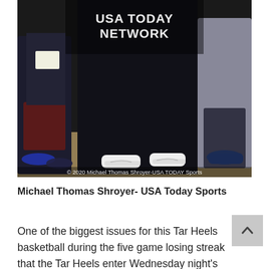[Figure (photo): Photo of people seated on a basketball bench, showing lower bodies and shoes. A USA TODAY NETWORK watermark overlay visible at top center. Photo credit reads: © 2020 Michael Thomas Shroyer-USA TODAY Sports]
Michael Thomas Shroyer- USA Today Sports
One of the biggest issues for this Tar Heels basketball during the five game losing streak that the Tar Heels enter Wednesday night's game with was the lack of effort. Effort was far from the